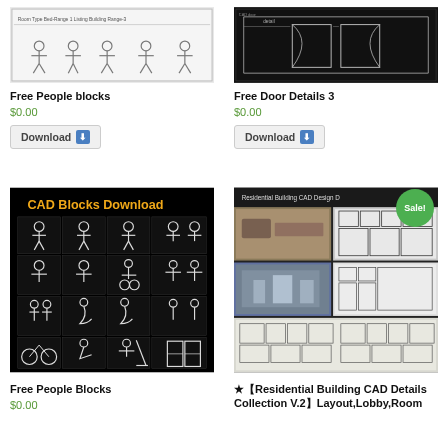[Figure (screenshot): CAD drawing of people blocks thumbnail, black and white technical drawing]
Free People blocks
$0.00
[Figure (screenshot): CAD drawing of door details thumbnail, black and white technical drawing]
Free Door Details 3
$0.00
[Figure (screenshot): CAD Blocks Download - black background with white CAD figure drawings of people in various poses]
Free People Blocks
$0.00
[Figure (screenshot): Residential Building CAD Design collection with Sale badge - collage of building photos and floor plans]
★【Residential Building CAD Details Collection V.2】Layout,Lobby,Room